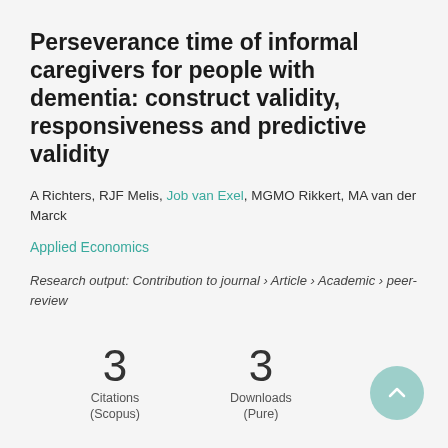Perseverance time of informal caregivers for people with dementia: construct validity, responsiveness and predictive validity
A Richters, RJF Melis, Job van Exel, MGMO Rikkert, MA van der Marck
Applied Economics
Research output: Contribution to journal › Article › Academic › peer-review
3 Citations (Scopus)
3 Downloads (Pure)